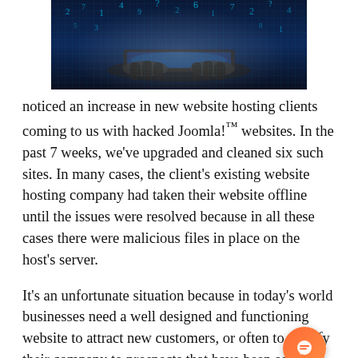[Figure (photo): A person's hands typing on a glowing laptop/tablet in a dark digital environment with numbers and code floating around, blue-toned cybersecurity themed image]
noticed an increase in new website hosting clients coming to us with hacked Joomla!™ websites. In the past 7 weeks, we've upgraded and cleaned six such sites. In many cases, the client's existing website hosting company had taken their website offline until the issues were resolved because in all these cases there were malicious files in place on the host's server.
It's an unfortunate situation because in today's world businesses need a well designed and functioning website to attract new customers, or often to qualify their company to prospects that have been solicited with other marketing efforts.